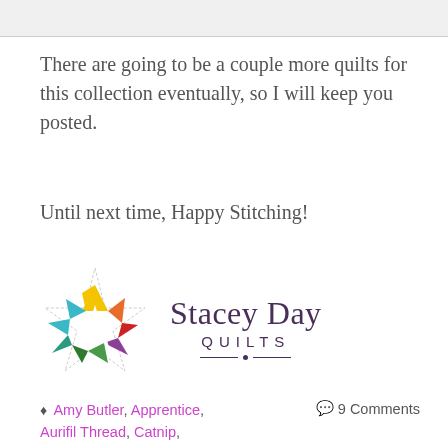[Figure (other): Gray top bar/header strip]
There are going to be a couple more quilts for this collection eventually, so I will keep you posted.
Until next time, Happy Stitching!
[Figure (logo): Stacey Day Quilts logo with colorful star-quilt block graphic and text]
♦ Amy Butler, Apprentice, Aurifil Thread, Catnip, Clematis, fabric, Fleur de Lis, Joel dewberry, quilt, quilt   💬 9 Comments